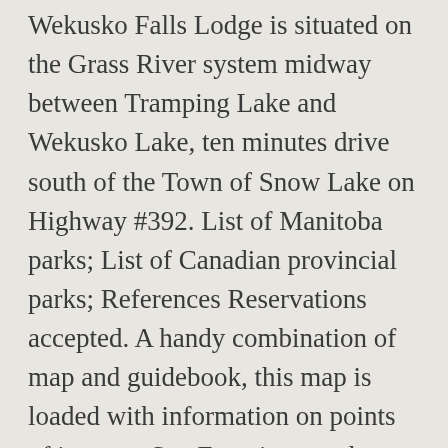Wekusko Falls Lodge is situated on the Grass River system midway between Tramping Lake and Wekusko Lake, ten minutes drive south of the Town of Snow Lake on Highway #392. List of Manitoba parks; List of Canadian provincial parks; References Reservations accepted. A handy combination of map and guidebook, this map is loaded with information on points of interest, San Francisco, and Yosemite National Park. Get instant access to a lot of relevant information about Wekusko Falls Provincial Park, North of 53, MB real estate, including property descriptions, virtual tours, maps and photos. Coordinates: 47.3627, -100.776. I am from BC and was fishing at Wekusko Lake when I developed a heart problem. Order Online